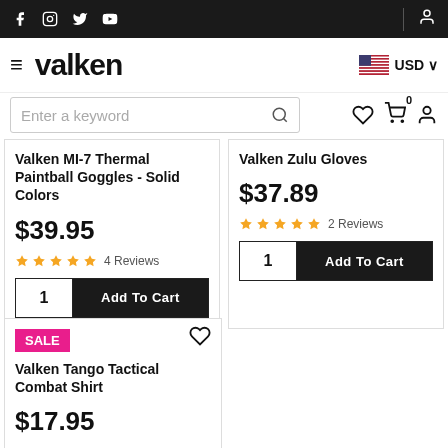Valken store navigation header with social icons, logo, USD currency selector, search bar, wishlist, cart, and account icons
Valken MI-7 Thermal Paintball Goggles - Solid Colors
$39.95
★★★★★ 4 Reviews
Valken Zulu Gloves
$37.89
★★★★★ 2 Reviews
SALE
Valken Tango Tactical Combat Shirt
$17.95